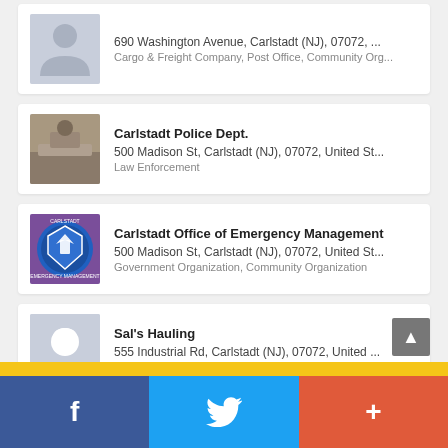[Figure (screenshot): Partial listing card showing 690 Washington Avenue, Carlstadt (NJ), 07072 - Cargo & Freight Company, Post Office, Community Org...]
Carlstadt Police Dept.
500 Madison St, Carlstadt (NJ), 07072, United St...
Law Enforcement
Carlstadt Office of Emergency Management
500 Madison St, Carlstadt (NJ), 07072, United St...
Government Organization, Community Organization
Sal's Hauling
555 Industrial Rd, Carlstadt (NJ), 07072, United ...
Public Service
f  (Twitter bird)  +